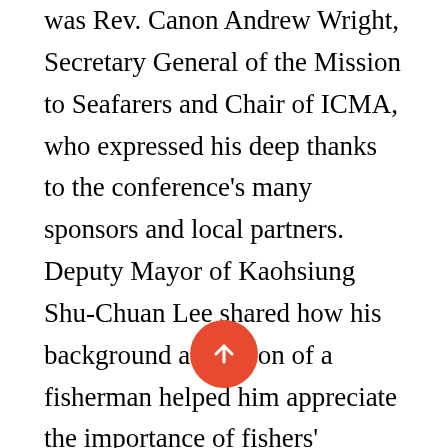was Rev. Canon Andrew Wright, Secretary General of the Mission to Seafarers and Chair of ICMA, who expressed his deep thanks to the conference's many sponsors and local partners.  Deputy Mayor of Kaohsiung Shu-Chuan Lee shared how his background as the son of a fisherman helped him appreciate the importance of fishers' ministry, and the Bishop of the Diocese of Kaohsiung, Archbishop Peter Lau Cheng-Chung, spoke about how excellent an opportunity this conference was to further demonstrate that importance.

To top off this already impressive guest list, the opening speeches were concluded with two more speakers: Mr. Chen Chien-jen,